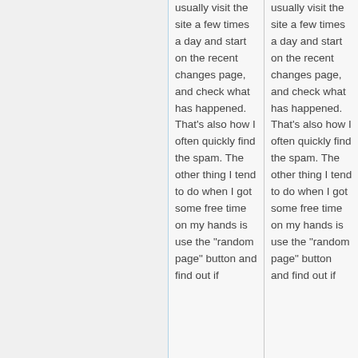usually visit the site a few times a day and start on the recent changes page, and check what has happened. That's also how I often quickly find the spam. The other thing I tend to do when I got some free time on my hands is use the "random page" button and find out if
usually visit the site a few times a day and start on the recent changes page, and check what has happened. That's also how I often quickly find the spam. The other thing I tend to do when I got some free time on my hands is use the "random page" button and find out if